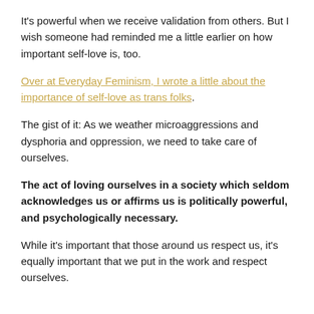It's powerful when we receive validation from others. But I wish someone had reminded me a little earlier on how important self-love is, too.
Over at Everyday Feminism, I wrote a little about the importance of self-love as trans folks.
The gist of it: As we weather microaggressions and dysphoria and oppression, we need to take care of ourselves.
The act of loving ourselves in a society which seldom acknowledges us or affirms us is politically powerful, and psychologically necessary.
While it's important that those around us respect us, it's equally important that we put in the work and respect ourselves.